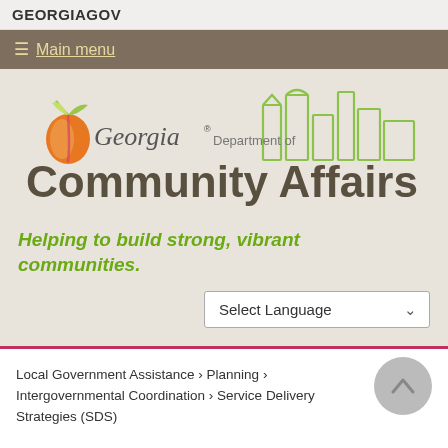GEORGIAGOV
Main menu
[Figure (logo): Georgia Department of Community Affairs logo with Georgia peach icon and city skyline outline]
Helping to build strong, vibrant communities.
Select Language
Local Government Assistance › Planning › Intergovernmental Coordination › Service Delivery Strategies (SDS)